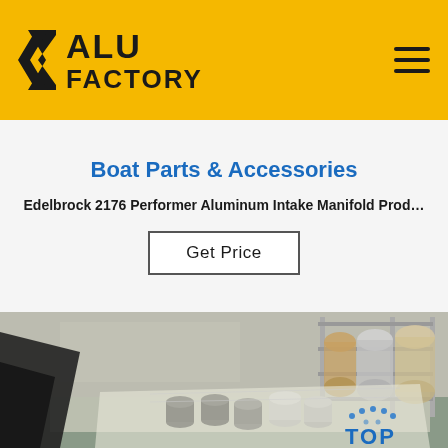ALU FACTORY
Boat Parts & Accessories
Edelbrock 2176 Performer Aluminum Intake Manifold Prod…
Get Price
[Figure (photo): Industrial workshop interior with aluminum tubes and metal cylinders on a workbench, with metal rolling/forming equipment in the background. A 'TOP' watermark logo appears in the bottom-right corner.]